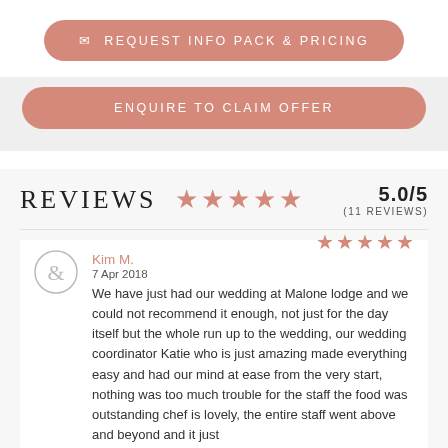REQUEST INFO PACK & PRICING
ENQUIRE TO CLAIM OFFER
REVIEWS
5.0/5 (11 REVIEWS)
Kim M.
7 Apr 2018
We have just had our wedding at Malone lodge and we could not recommend it enough, not just for the day itself but the whole run up to the wedding, our wedding coordinator Katie who is just amazing made everything easy and had our mind at ease from the very start, nothing was too much trouble for the staff the food was outstanding chef is lovely, the entire staff went above and beyond and it just